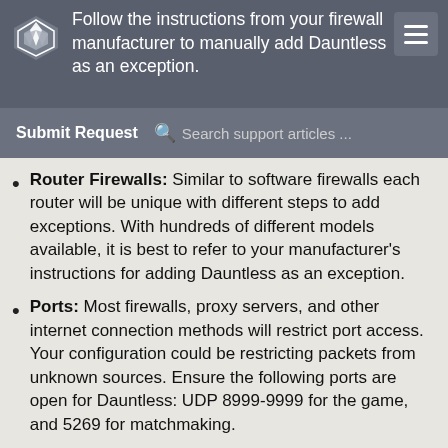Follow the instructions from your firewall manufacturer to manually add Dauntless as an exception.
Submit Request | Search support articles ...
Router Firewalls: Similar to software firewalls each router will be unique with different steps to add exceptions. With hundreds of different models available, it is best to refer to your manufacturer's instructions for adding Dauntless as an exception.
Ports: Most firewalls, proxy servers, and other internet connection methods will restrict port access. Your configuration could be restricting packets from unknown sources. Ensure the following ports are open for Dauntless: UDP 8999-9999 for the game, and 5269 for matchmaking.
Configuring DNS Settings